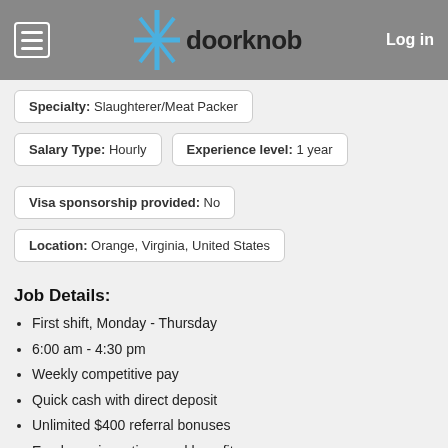doorknob | Log in
Specialty: Slaughterer/Meat Packer
Salary Type: Hourly | Experience level: 1 year
Visa sponsorship provided: No
Location: Orange, Virginia, United States
Job Details:
First shift, Monday - Thursday
6:00 am - 4:30 pm
Weekly competitive pay
Quick cash with direct deposit
Unlimited $400 referral bonuses
Employee incentives and benefits